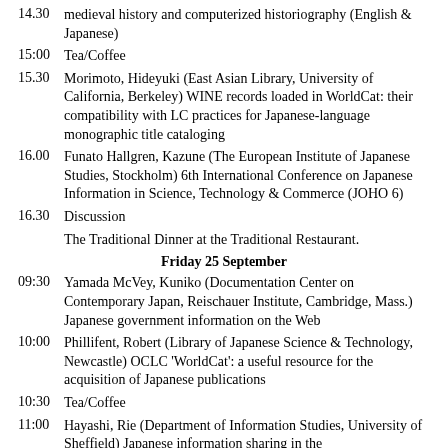14.30 medieval history and computerized historiography (English & Japanese)
15:00 Tea/Coffee
15.30 Morimoto, Hideyuki (East Asian Library, University of California, Berkeley) WINE records loaded in WorldCat: their compatibility with LC practices for Japanese-language monographic title cataloging
16.00 Funato Hallgren, Kazune (The European Institute of Japanese Studies, Stockholm) 6th International Conference on Japanese Information in Science, Technology & Commerce (JOHO 6)
16.30 Discussion
The Traditional Dinner at the Traditional Restaurant.
Friday 25 September
09:30 Yamada McVey, Kuniko (Documentation Center on Contemporary Japan, Reischauer Institute, Cambridge, Mass.) Japanese government information on the Web
10:00 Phillifent, Robert (Library of Japanese Science & Technology, Newcastle) OCLC 'WorldCat': a useful resource for the acquisition of Japanese publications
10:30 Tea/Coffee
11:00 Hayashi, Rie (Department of Information Studies, University of Sheffield) Japanese information sharing in the